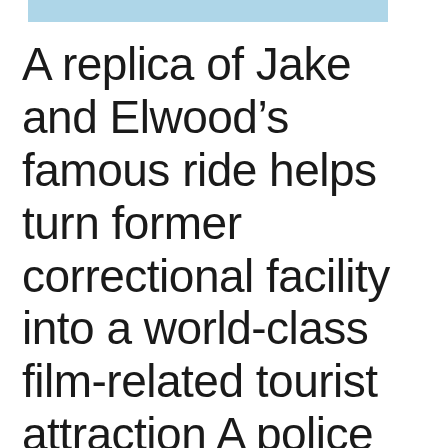[Figure (other): Light blue horizontal bar at the top of the page]
A replica of Jake and Elwood’s famous ride helps turn former correctional facility into a world-class film-related tourist attraction A police car with a large public